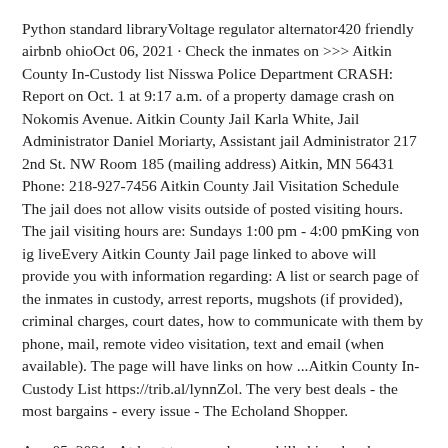Python standard libraryVoltage regulator alternator420 friendly airbnb ohioOct 06, 2021 · Check the inmates on >>> Aitkin County In-Custody list Nisswa Police Department CRASH: Report on Oct. 1 at 9:17 a.m. of a property damage crash on Nokomis Avenue. Aitkin County Jail Karla White, Jail Administrator Daniel Moriarty, Assistant jail Administrator 217 2nd St. NW Room 185 (mailing address) Aitkin, MN 56431 Phone: 218-927-7456 Aitkin County Jail Visitation Schedule The jail does not allow visits outside of posted visiting hours. The jail visiting hours are: Sundays 1:00 pm - 4:00 pmKing von ig liveEvery Aitkin County Jail page linked to above will provide you with information regarding: A list or search page of the inmates in custody, arrest reports, mugshots (if provided), criminal charges, court dates, how to communicate with them by phone, mail, remote video visitation, text and email (when available). The page will have links on how ...Aitkin County In-Custody List https://trib.al/lynnZol. The very best deals - the most bargains - every issue - The Echoland Shopper.
Aug 05, 2021 · At least two people were killed in a head-on crash when a motorist attempted to make a pass on a northern Minnesota highway on Wednesday. The State Patrol reports the head-on collision involving a Toyota Camry and a Toyota RAV4 happened around 11:50 a.m. on Highway 65 in White Pine Township, Aitkin